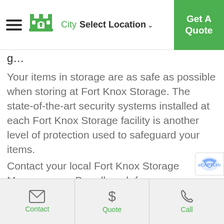Fort Knox Storage — City Select Location ∨ | Get A Quote
g…
Your items in storage are as safe as possible when storing at Fort Knox Storage. The state-of-the-art security systems installed at each Fort Knox Storage facility is another level of protection used to safeguard your items.
Contact your local Fort Knox Storage Manager near Broadbeach for more clarification on security protocols.
Contact | Quote | Call